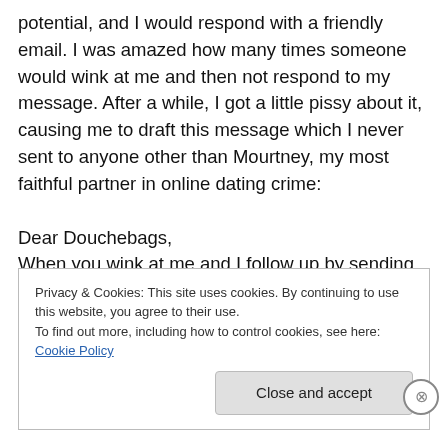potential, and I would respond with a friendly email. I was amazed how many times someone would wink at me and then not respond to my message. After a while, I got a little pissy about it, causing me to draft this message which I never sent to anyone other than Mourtney, my most faithful partner in online dating crime:

Dear Douchebags,
When you wink at me and I follow up by sending you an email, why the fuck don't you respond? I don't even really care because I'm sure you're a douchebag anyway (this
Privacy & Cookies: This site uses cookies. By continuing to use this website, you agree to their use.
To find out more, including how to control cookies, see here: Cookie Policy